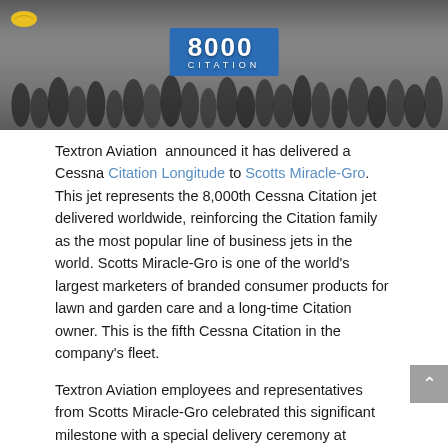[Figure (photo): Group photo of Textron Aviation employees and Scotts Miracle-Gro representatives holding a large '8000 Citation' banner, taken at Textron Aviation headquarters in Wichita.]
Textron Aviation announced it has delivered a Cessna Citation Longitude to Scotts Miracle-Gro. This jet represents the 8,000th Cessna Citation jet delivered worldwide, reinforcing the Citation family as the most popular line of business jets in the world. Scotts Miracle-Gro is one of the world's largest marketers of branded consumer products for lawn and garden care and a long-time Citation owner. This is the fifth Cessna Citation in the company's fleet.
Textron Aviation employees and representatives from Scotts Miracle-Gro celebrated this significant milestone with a special delivery ceremony at Textron Aviation headquarters in Wichita.